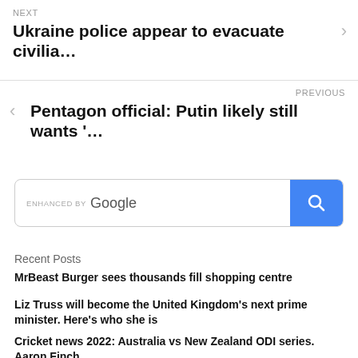NEXT
Ukraine police appear to evacuate civilia…
PREVIOUS
Pentagon official: Putin likely still wants '…
[Figure (other): ENHANCED BY Google search bar with blue search button containing magnifying glass icon]
Recent Posts
MrBeast Burger sees thousands fill shopping centre
Liz Truss will become the United Kingdom's next prime minister. Here's who she is
Cricket news 2022: Australia vs New Zealand ODI series. Aaron Finch